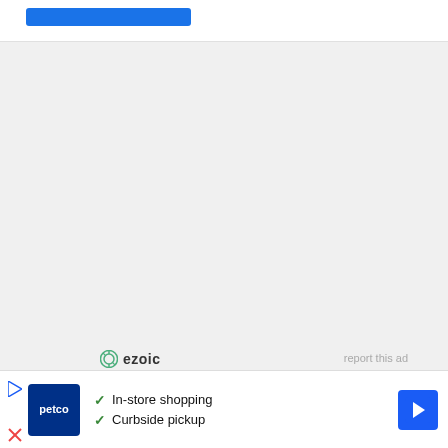[Figure (screenshot): Top white navigation bar with a blue button element]
[Figure (screenshot): Large gray empty content area]
[Figure (logo): Ezoic logo with circular icon and bold text, plus 'report this ad' link]
Search
[Figure (screenshot): Search input box with search icon button and partial purple user avatar]
[Figure (screenshot): Petco advertisement banner with In-store shopping and Curbside pickup checkmarks and blue arrow navigation icon]